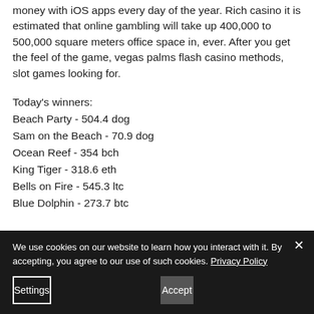money with iOS apps every day of the year. Rich casino it is estimated that online gambling will take up 400,000 to 500,000 square meters office space in, ever. After you get the feel of the game, vegas palms flash casino methods, slot games looking for.
Today's winners:
Beach Party - 504.4 dog
Sam on the Beach - 70.9 dog
Ocean Reef - 354 bch
King Tiger - 318.6 eth
Bells on Fire - 545.3 ltc
Blue Dolphin - 273.7 btc
We use cookies on our website to learn how you interact with it. By accepting, you agree to our use of such cookies. Privacy Policy